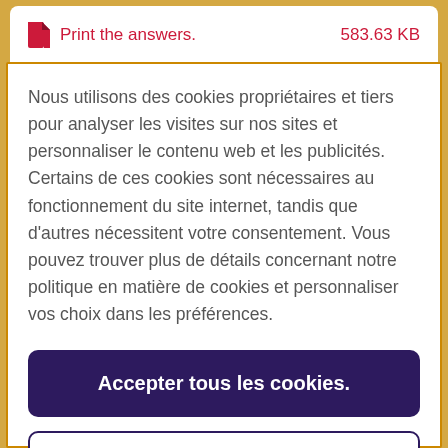Print the answers.    583.63 KB
Nous utilisons des cookies propriétaires et tiers pour analyser les visites sur nos sites et personnaliser le contenu web et les publicités. Certains de ces cookies sont nécessaires au fonctionnement du site internet, tandis que d'autres nécessitent votre consentement. Vous pouvez trouver plus de détails concernant notre politique en matière de cookies et personnaliser vos choix dans les préférences.
Accepter tous les cookies.
Paramètres des cookies